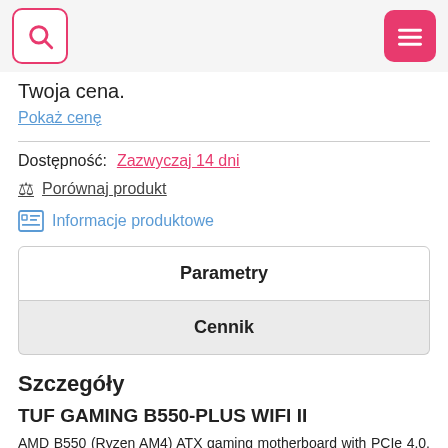Twoja cena.
Pokaż cenę
Dostępność: Zazwyczaj 14 dni
Porównaj produkt
Informacje produktowe
Parametry
Cennik
Szczegóły
TUF GAMING B550-PLUS WIFI II
AMD B550 (Ryzen AM4) ATX gaming motherboard with PCIe 4.0, dual M.2, 10 DrMOS power stages, Wi-Fi 6, 2.5 Gb Ethernet, HDMI,